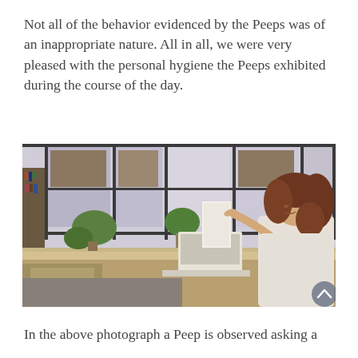Not all of the behavior evidenced by the Peeps was of an inappropriate nature. All in all, we were very pleased with the personal hygiene the Peeps exhibited during the course of the day.
[Figure (photo): A woman with curly red-brown hair, wearing a light-colored top, sits at a library desk pointing at something off-frame. Large windows with plants visible in the background; a laptop is open on the desk.]
In the above photograph a Peep is observed asking a